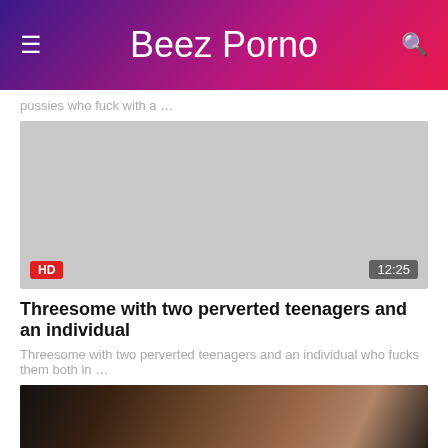Beez Porno
pussies who fuck with a …
[Figure (photo): Video thumbnail placeholder (gray area) with HD badge and 12:25 duration badge]
Threesome with two perverted teenagers and an individual
Threesome with two perverted teenagers and an individual who fucks them both in …
[Figure (photo): Partial video thumbnail showing two people]